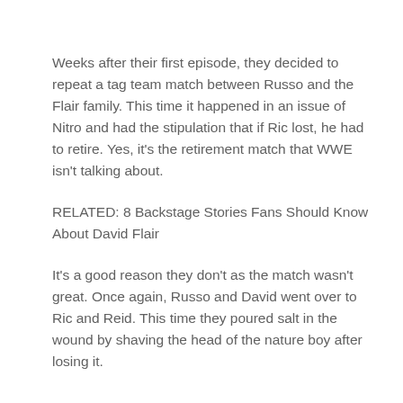Weeks after their first episode, they decided to repeat a tag team match between Russo and the Flair family. This time it happened in an issue of Nitro and had the stipulation that if Ric lost, he had to retire. Yes, it's the retirement match that WWE isn't talking about.
RELATED: 8 Backstage Stories Fans Should Know About David Flair
It's a good reason they don't as the match wasn't great. Once again, Russo and David went over to Ric and Reid. This time they poured salt in the wound by shaving the head of the nature boy after losing it.